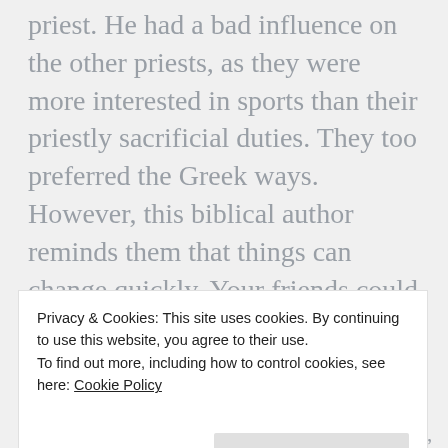priest. He had a bad influence on the other priests, as they were more interested in sports than their priestly sacrificial duties. They too preferred the Greek ways. However, this biblical author reminds them that things can change quickly. Your friends could become your enemies. Disaster was on the way for those who showed irreverence to the divine laws.
Uncategorized  2 Maccabees, a gymnasium, alliance, ancestors, contrary, delight, disaster, disdained, Do
Privacy & Cookies: This site uses cookies. By continuing to use this website, you agree to their use. To find out more, including how to control cookies, see here: Cookie Policy
priest, the honors, the lawful ways, the Romans, The